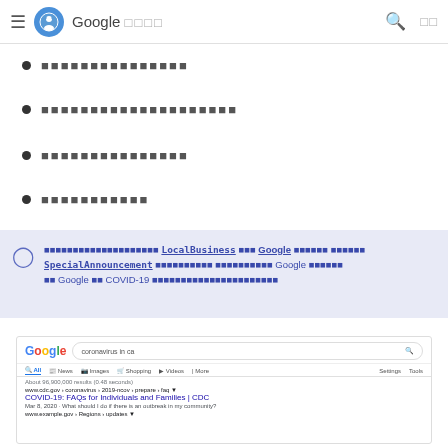Google (nav bar with hamburger, logo, title, search and settings icons)
▪▪▪▪▪▪▪▪▪▪▪▪▪▪▪
▪▪▪▪▪▪▪▪▪▪▪▪▪▪▪▪▪▪▪▪
▪▪▪▪▪▪▪▪▪▪▪▪▪▪▪
▪▪▪▪▪▪▪▪▪▪▪
[hint box] LocalBusiness, Google, SpecialAnnouncement, Google, Google COVID-19 related text
[Figure (screenshot): Google search results page screenshot showing search for 'coronavirus in ca' with result: COVID-19: FAQs for Individuals and Families | CDC]